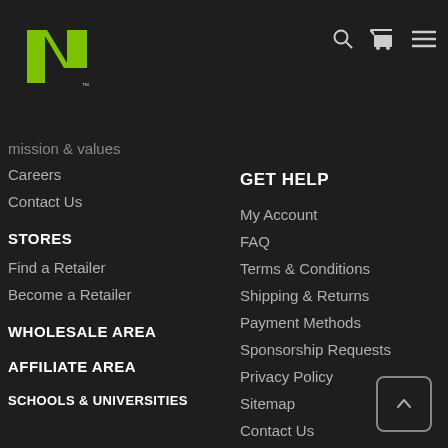[Figure (logo): N1 logo in green with white TM mark]
mission & values
Careers
Contact Us
STORES
Find a Retailer
Become a Retailer
WHOLESALE AREA
AFFILIATE AREA
SCHOOLS & UNIVERSITIES
GET HELP
My Account
FAQ
Terms & Conditions
Shipping & Returns
Payment Methods
Sponsorship Requests
Privacy Policy
Sitemap
Contact Us